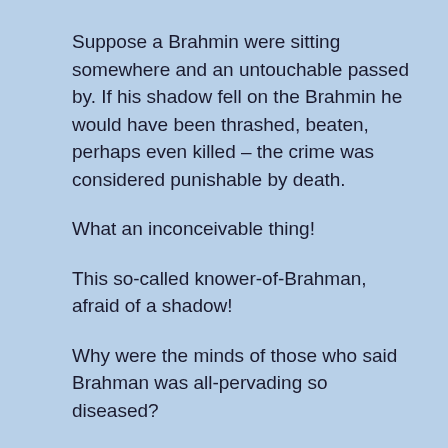Suppose a Brahmin were sitting somewhere and an untouchable passed by. If his shadow fell on the Brahmin he would have been thrashed, beaten, perhaps even killed – the crime was considered punishable by death.
What an inconceivable thing!
This so-called knower-of-Brahman, afraid of a shadow!
Why were the minds of those who said Brahman was all-pervading so diseased?
How did this happen?
Those who said that Brahman is all-pervading were perfectly correct, but those who heard it interpreted it in their own way, in a different...